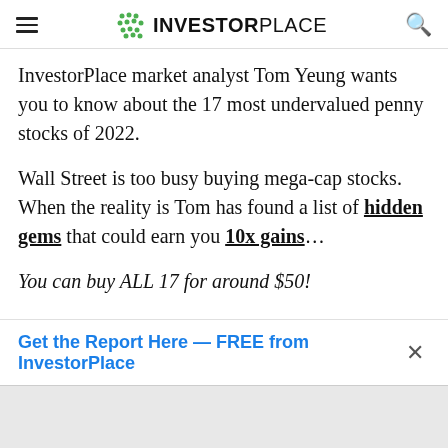InvestorPlace
InvestorPlace market analyst Tom Yeung wants you to know about the 17 most undervalued penny stocks of 2022.
Wall Street is too busy buying mega-cap stocks. When the reality is Tom has found a list of hidden gems that could earn you 10x gains…
You can buy ALL 17 for around $50!
Get the Report Here — FREE from InvestorPlace